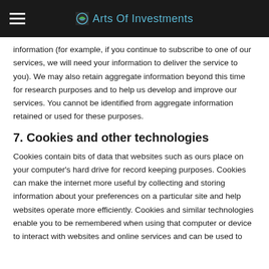Arts Of Investments
information (for example, if you continue to subscribe to one of our services, we will need your information to deliver the service to you). We may also retain aggregate information beyond this time for research purposes and to help us develop and improve our services. You cannot be identified from aggregate information retained or used for these purposes.
7. Cookies and other technologies
Cookies contain bits of data that websites such as ours place on your computer's hard drive for record keeping purposes. Cookies can make the internet more useful by collecting and storing information about your preferences on a particular site and help websites operate more efficiently. Cookies and similar technologies enable you to be remembered when using that computer or device to interact with websites and online services and can be used to